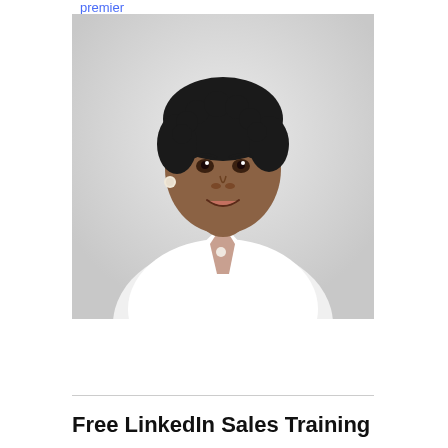premier
[Figure (photo): Professional headshot of a woman with short curly dark hair wearing a white blazer, smiling, against a light gray background]
Free LinkedIn Sales Training